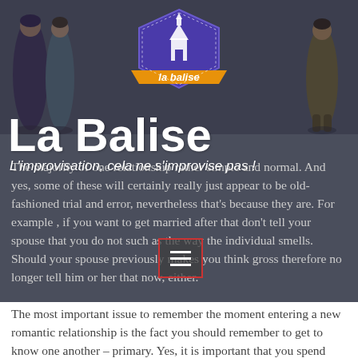[Figure (illustration): Website header banner with illustrated characters (figures in purple/dark tones on left and right), a central logo badge for 'La Balise' with a purple hexagonal shape and orange ribbon banner, on a dark gray overlay background.]
La Balise
L'improvisation, cela ne s'improvise pas !
The majority of one relationship rather simple and normal. And yes, some of these will certainly really just appear to be old-fashioned trial and error, nevertheless that's because they are. For example , if you want to get married after that don't tell your spouse that you do not such as the way the individual smells. Should your spouse previously makes you think gross therefore no longer tell him or her that now, either.
The most important issue to remember the moment entering a new romantic relationship is the fact you should remember to get to know one another – primary. Yes, it is important that you spend time getting to know one another before you even consider marriage. If you were able to make this